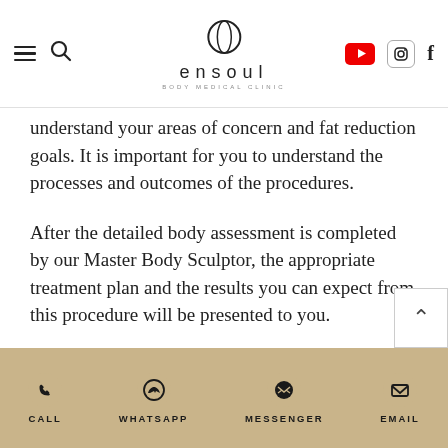ensoul BODY MEDICAL CLINIC
understand your areas of concern and fat reduction goals. It is important for you to understand the processes and outcomes of the procedures.
After the detailed body assessment is completed by our Master Body Sculptor, the appropriate treatment plan and the results you can expect from this procedure will be presented to you.
The body assessment will take into account your needs and goals as well as consultation session
CALL  WHATSAPP  MESSENGER  EMAIL